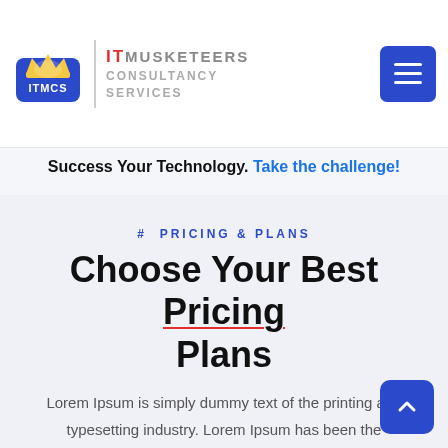[Figure (logo): ITMCS cloud crown logo with blue background]
IT MUSKETEERS CONSULTANCY SERVICES
Success Your Technology. Take the challenge!
# PRICING & PLANS
Choose Your Best Pricing Plans
Lorem Ipsum is simply dummy text of the printing and typesetting industry. Lorem Ipsum has been the industry's standard dummy text ever since the